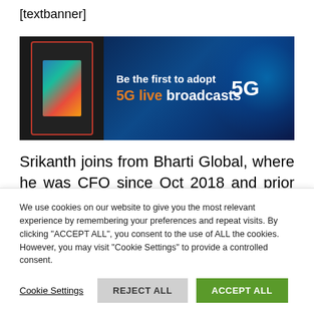[textbanner]
[Figure (other): Advertisement banner for 5G live broadcasts featuring broadcast equipment devices on the left and dark blue background with text 'Be the first to adopt 5G live broadcasts' on the right with '5G' in large white text]
Srikanth joins from Bharti Global, where he was CFO since Oct 2018 and prior to that, was CFO of Bharti Airtel for seven years. Under his financial stewardship, Airtel engaged in some intense M&A activity...
We use cookies on our website to give you the most relevant experience by remembering your preferences and repeat visits. By clicking "ACCEPT ALL", you consent to the use of ALL the cookies. However, you may visit "Cookie Settings" to provide a controlled consent.
Cookie Settings   REJECT ALL   ACCEPT ALL